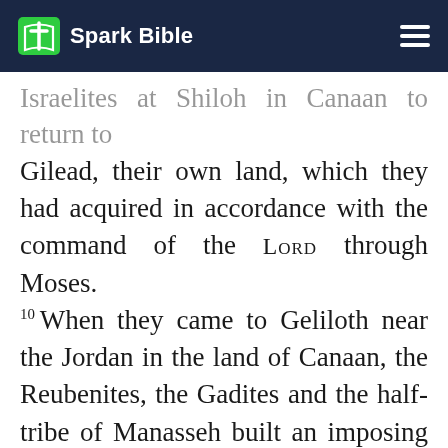Spark Bible
Israelites at Shiloh in Canaan to return to Gilead, their own land, which they had acquired in accordance with the command of the LORD through Moses.
10 When they came to Geliloth near the Jordan in the land of Canaan, the Reubenites, the Gadites and the half-tribe of Manasseh built an imposing altar there by the Jordan. 11 And when the Israelites heard that they had built the altar on the border of Canaan at Geliloth near the